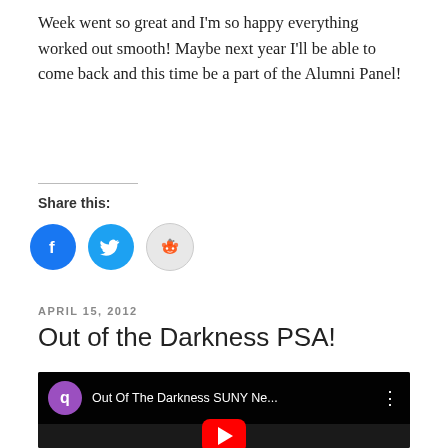Week went so great and I'm so happy everything worked out smooth! Maybe next year I'll be able to come back and this time be a part of the Alumni Panel!
Share this:
[Figure (infographic): Social share buttons: Facebook (blue circle with f icon), Twitter (blue circle with bird icon), Reddit (light grey circle with alien mascot icon)]
APRIL 15, 2012
Out of the Darkness PSA!
[Figure (screenshot): YouTube video thumbnail showing 'Out Of The Darkness SUNY Ne...' with a purple avatar circle showing 'q', dark background with hands visible, and a red YouTube play button at bottom center.]